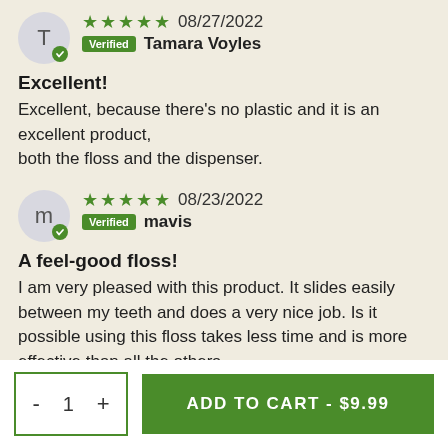[Figure (other): Reviewer avatar circle with letter T and green verified checkmark]
★★★★★ 08/27/2022
Verified Tamara Voyles
Excellent!
Excellent, because there's no plastic and it is an excellent product, both the floss and the dispenser.
[Figure (other): Reviewer avatar circle with letter m and green verified checkmark]
★★★★★ 08/23/2022
Verified mavis
A feel-good floss!
I am very pleased with this product. It slides easily between my teeth and does a very nice job. Is it possible using this floss takes less time and is more effective than all the others
- 1 + ADD TO CART - $9.99